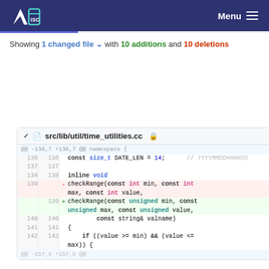ISC | Menu
Showing 1 changed file with 10 additions and 10 deletions
[Figure (screenshot): Code diff view showing changes to src/lib/util/time_utilities.cc, replacing 'int' with 'unsigned' in checkRange function parameters]